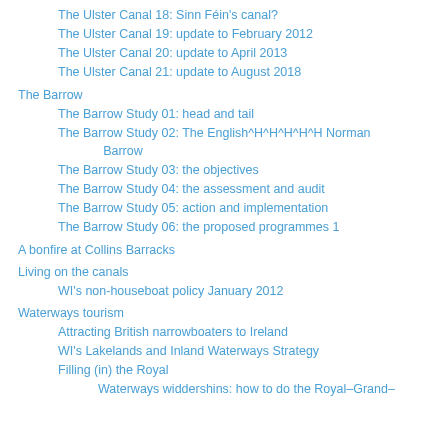The Ulster Canal 18: Sinn Féin's canal?
The Ulster Canal 19: update to February 2012
The Ulster Canal 20: update to April 2013
The Ulster Canal 21: update to August 2018
The Barrow
The Barrow Study 01: head and tail
The Barrow Study 02: The English^H^H^H^H^H Norman Barrow
The Barrow Study 03: the objectives
The Barrow Study 04: the assessment and audit
The Barrow Study 05: action and implementation
The Barrow Study 06: the proposed programmes 1
A bonfire at Collins Barracks
Living on the canals
WI's non-houseboat policy January 2012
Waterways tourism
Attracting British narrowboaters to Ireland
WI's Lakelands and Inland Waterways Strategy
Filling (in) the Royal
Waterways widdershins: how to do the Royal–Grand–